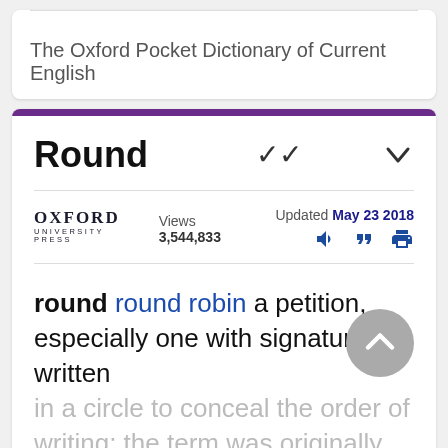The Oxford Pocket Dictionary of Current English
Round
Views 3,544,833   Updated May 23 2018
round round robin a petition, especially one with signatures written in a circle to conceal the order of writing; the term was originally (in the